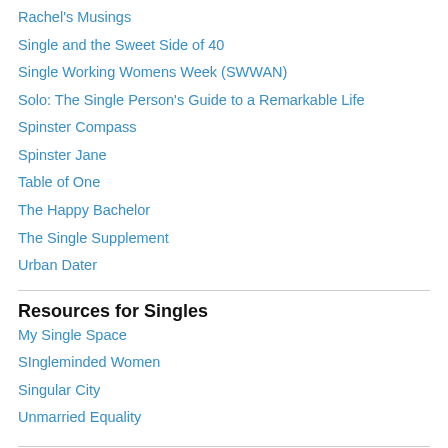Rachel's Musings
Single and the Sweet Side of 40
Single Working Womens Week (SWWAN)
Solo: The Single Person's Guide to a Remarkable Life
Spinster Compass
Spinster Jane
Table of One
The Happy Bachelor
The Single Supplement
Urban Dater
Resources for Singles
My Single Space
SIngleminded Women
Singular City
Unmarried Equality